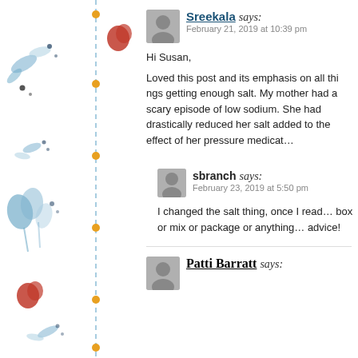[Figure (illustration): Left decorative sidebar with floral/nature motifs in blue and red on white background, with a vertical dashed blue line and small orange/gold dots]
Sreekala says:
February 21, 2019 at 10:39 pm
Hi Susan,

Loved this post and its emphasis on all things getting enough salt. My mother had a scary episode of low sodium. She had drastically reduced her salt added to the effect of her pressure medica...
sbranch says:
February 23, 2019 at 5:50 pm
I changed the salt thing, once I read... box or mix or package or anything... advice!
Patti Barratt says: